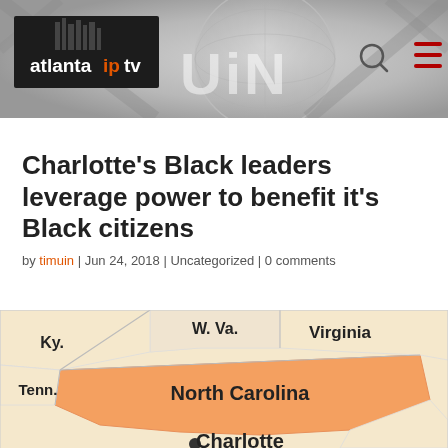[Figure (screenshot): Atlanta IPTV website header banner with logo, UiN branding text, search icon, and hamburger menu on grey background with subtle globe graphic]
Charlotte’s Black leaders leverage power to benefit it’s Black citizens
by timuin | Jun 24, 2018 | Uncategorized | 0 comments
[Figure (map): Partial map showing southeastern US states including Ky., W. Va., Virginia, Tenn., North Carolina, and Charlotte marked with a dot]